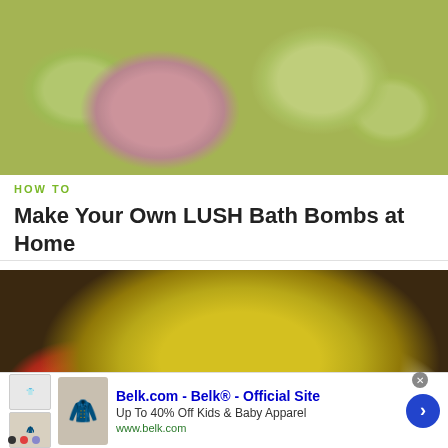[Figure (photo): Flower-shaped bath bombs in pink and yellow/green colors on a surface]
HOW TO
Make Your Own LUSH Bath Bombs at Home
[Figure (photo): Yellow pearl-like beads in a glass jar with a red object beside it]
Belk.com - Belk® - Official Site
Up To 40% Off Kids & Baby Apparel
www.belk.com